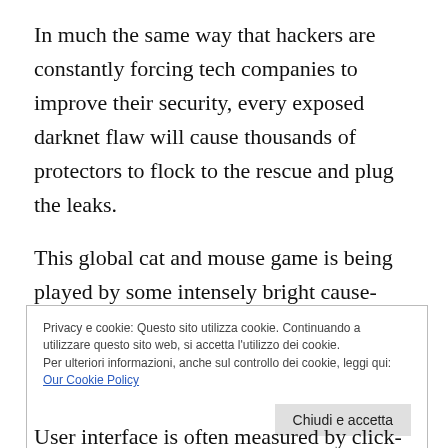In much the same way that hackers are constantly forcing tech companies to improve their security, every exposed darknet flaw will cause thousands of protectors to flock to the rescue and plug the leaks.
This global cat and mouse game is being played by some intensely bright cause-driven people. We are still a long ways from having companies offer darknet insurance to protect an individual's anonymity, but it may not be that far off.
Privacy e cookie: Questo sito utilizza cookie. Continuando a utilizzare questo sito web, si accetta l'utilizzo dei cookie.
Per ulteriori informazioni, anche sul controllo dei cookie, leggi qui:
Our Cookie Policy
Chiudi e accetta
User interface is often measured by click-to-access,